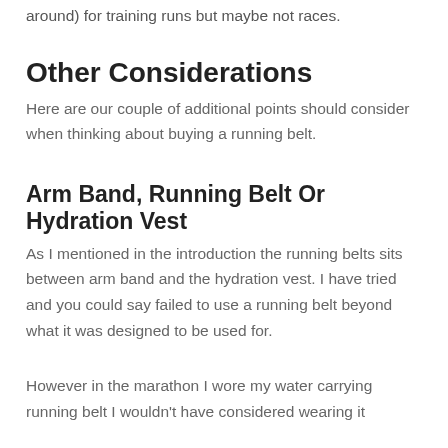around) for training runs but maybe not races.
Other Considerations
Here are our couple of additional points should consider when thinking about buying a running belt.
Arm Band, Running Belt Or Hydration Vest
As I mentioned in the introduction the running belts sits between arm band and the hydration vest. I have tried and you could say failed to use a running belt beyond what it was designed to be used for.
However in the marathon I wore my water carrying running belt I wouldn't have considered wearing it